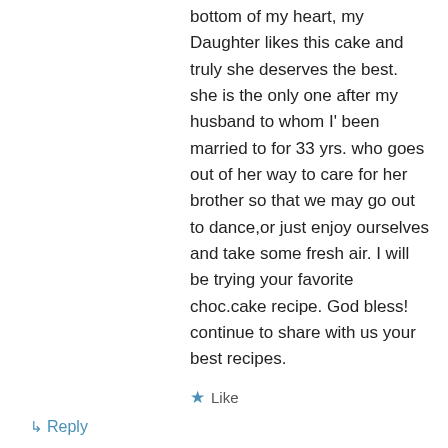bottom of my heart, my Daughter likes this cake and truly she deserves the best. she is the only one after my husband to whom I' been married to for 33 yrs. who goes out of her way to care for her brother so that we may go out to dance,or just enjoy ourselves and take some fresh air. I will be trying your favorite choc.cake recipe. God bless! continue to share with us your best recipes.
★ Like
↳ Reply
Veronica on April 20, 2011 at 11:54 pm
Wow, you've got your hands full! I bet you